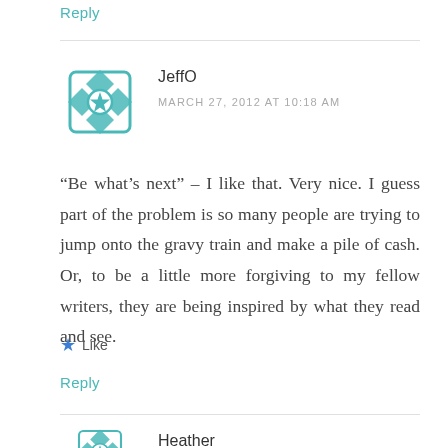Reply
JeffO
MARCH 27, 2012 AT 10:18 AM
“Be what’s next” – I like that. Very nice. I guess part of the problem is so many people are trying to jump onto the gravy train and make a pile of cash. Or, to be a little more forgiving to my fellow writers, they are being inspired by what they read and see.
★ Like
Reply
Heather